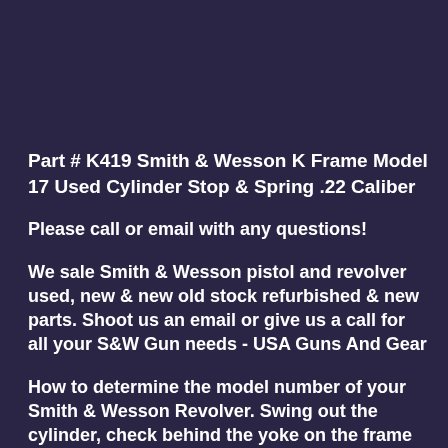Part # K419 Smith & Wesson K Frame Model 17 Used Cylinder Stop & Spring .22 Caliber
Please call or email with any questions!
We sale Smith & Wesson pistol and revolver used, new & new old stock refurbished & new parts. Shoot us an email or give us a call for all your S&W Gun needs - USA Guns And Gear
How to determine the model number of your Smith & Wesson Revolver. Swing out the cylinder, check behind the yoke on the frame for a MODEL NUMBER.